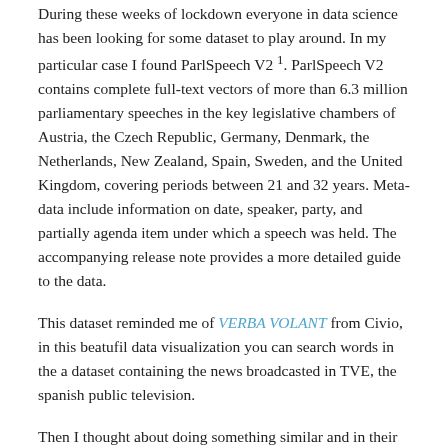During these weeks of lockdown everyone in data science has been looking for some dataset to play around. In my particular case I found ParlSpeech V2 1. ParlSpeech V2 contains complete full-text vectors of more than 6.3 million parliamentary speeches in the key legislative chambers of Austria, the Czech Republic, Germany, Denmark, the Netherlands, New Zealand, Spain, Sweden, and the United Kingdom, covering periods between 21 and 32 years. Meta-data include information on date, speaker, party, and partially agenda item under which a speech was held. The accompanying release note provides a more detailed guide to the data.
This dataset reminded me of VERBA VOLANT from Civio, in this beatufil data visualization you can search words in the a dataset containing the news broadcasted in TVE, the spanish public television.
Then I thought about doing something similar and in their public repository I found out that they used Elastic, Elastic is an open source engine for documental texts. Elastic offers their own cloud service (free during the first 14 days). So I decided to get my hands dirty with Elastic and R.
Once I set up my own Elastic Cloud account, I populated it using elastic package in R